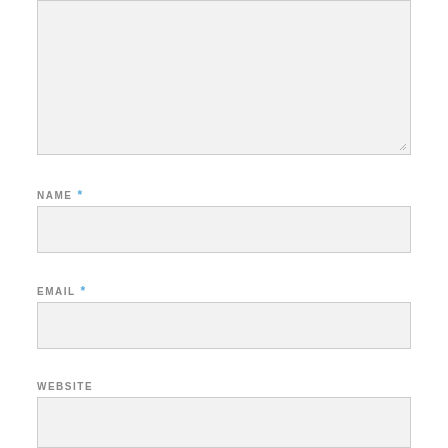[Figure (other): Large textarea input box with resize handle in bottom-right corner, light gray background with border]
NAME *
[Figure (other): Text input field for name, light gray background with border]
EMAIL *
[Figure (other): Text input field for email, light gray background with border]
WEBSITE
[Figure (other): Text input field for website, light gray background with border]